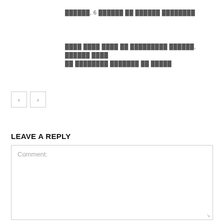██████, 6 ██████ ██ ██████ ████████
████ ████ ████ ██ █████████ ██████, ██████ ████ ██ ████████ ███████ ██ █████
LEAVE A REPLY
Comment: